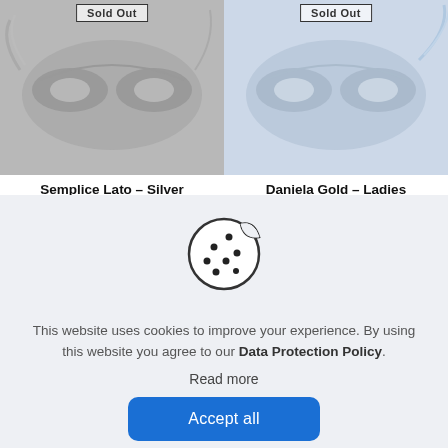[Figure (photo): Product image of Semplice Lato Silver Side Feather Masquerade Mask with Sold Out badge overlay]
Semplice Lato – Silver Side Feather Masquerade Masks | 10
[Figure (photo): Product image of Daniela Gold Ladies Feathered Masquerade Mask with Sold Out badge overlay]
Daniela Gold – Ladies Feathered Masquerade Masks | 10 Colours
[Figure (illustration): Cookie icon: circle with a bite taken out, dots representing chocolate chips]
This website uses cookies to improve your experience. By using this website you agree to our Data Protection Policy.
Read more
Accept all